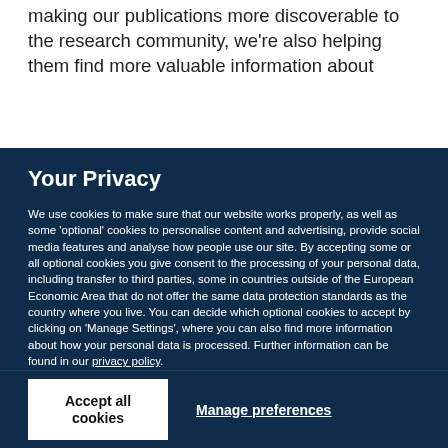making our publications more discoverable to the research community, we're also helping them find more valuable information about
Your Privacy
We use cookies to make sure that our website works properly, as well as some 'optional' cookies to personalise content and advertising, provide social media features and analyse how people use our site. By accepting some or all optional cookies you give consent to the processing of your personal data, including transfer to third parties, some in countries outside of the European Economic Area that do not offer the same data protection standards as the country where you live. You can decide which optional cookies to accept by clicking on 'Manage Settings', where you can also find more information about how your personal data is processed. Further information can be found in our privacy policy.
Accept all cookies
Manage preferences